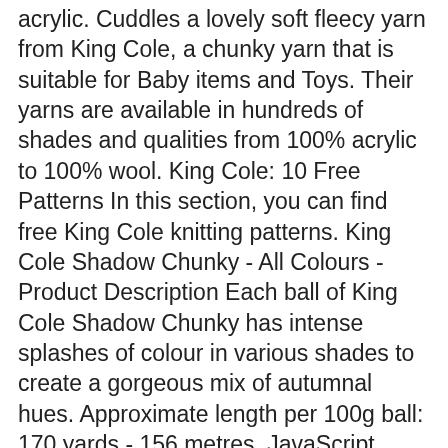acrylic. Cuddles a lovely soft fleecy yarn from King Cole, a chunky yarn that is suitable for Baby items and Toys. Their yarns are available in hundreds of shades and qualities from 100% acrylic to 100% wool. King Cole: 10 Free Patterns In this section, you can find free King Cole knitting patterns. King Cole Shadow Chunky - All Colours - Product Description Each ball of King Cole Shadow Chunky has intense splashes of colour in various shades to create a gorgeous mix of autumnal hues. Approximate length per 100g ball: 170 yards - 156 metres. JavaScript seems to be disabled in your browser. This truly indulgent yarn has a wonderful soft handle, the Alpaca content gives this yarn it's luxury feel. Patterns - Super Chunky. Cardigan and Sweater in King Cole Panache DK (4266) £2.99. King Cole Comfort Chunky knitting yarn is a great value chunky yarn, perfect for all your bulky knits. Carousel is available in a selection of 8 multi whirlpool colours, and each 200g ball comes with a free pattern featuring Knitted & Crochet shawls. Our collection includes a full range of adult, child, and baby designs and everything from